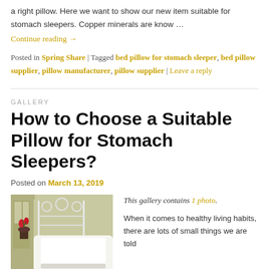a right pillow. Here we want to show our new item suitable for stomach sleepers. Copper minerals are know …
Continue reading →
Posted in Spring Share | Tagged bed pillow for stomach sleeper, bed pillow supplier, pillow manufacturer, pillow supplier | Leave a reply
GALLERY
How to Choose a Suitable Pillow for Stomach Sleepers?
Posted on March 13, 2019
[Figure (photo): Bedroom scene with white pillow on bed and decorative iron headboard, with a potted red flower plant in background]
This gallery contains 1 photo.
When it comes to healthy living habits, there are lots of small things we are told